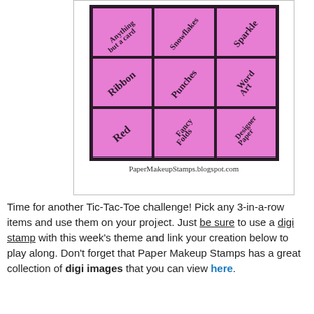[Figure (infographic): A 3x3 tic-tac-toe style grid with pink cells, each containing diagonal cursive/script text labels: 'Anything but a card', 'Snowflakes', 'Sparkle', 'Ribbon', 'Punches', 'Word Art', 'Red', 'Fancy Folds', 'Designer Paper'. Below the grid is the URL: PaperMakeupStamps.blogspot.com]
Time for another Tic-Tac-Toe challenge!  Pick any 3-in-a-row items and use them on your project.  Just be sure to use a digi stamp with this week's theme and link your creation below to play along.  Don't forget that Paper Makeup Stamps has a great collection of digi images that you can view here.